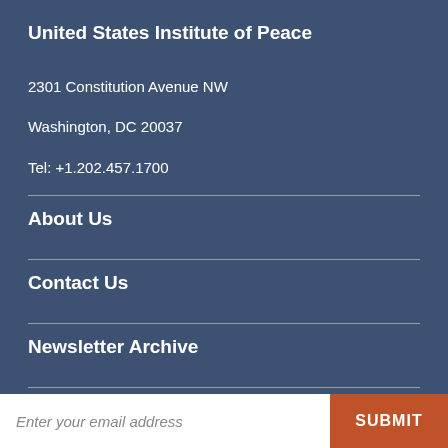United States Institute of Peace
2301 Constitution Avenue NW
Washington, DC 20037
Tel: +1.202.457.1700
About Us
Contact Us
Newsletter Archive
Sign up for our Newsletter
Enter your email address
SUBMIT